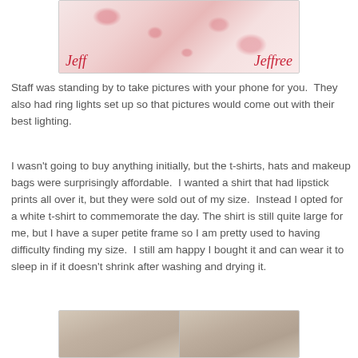[Figure (photo): A person wearing a red and white floral/lipstick print t-shirt standing in front of a backdrop with 'Jeffree' cursive text in red. Photo has a white border.]
Staff was standing by to take pictures with your phone for you.  They also had ring lights set up so that pictures would come out with their best lighting.
I wasn't going to buy anything initially, but the t-shirts, hats and makeup bags were surprisingly affordable.  I wanted a shirt that had lipstick prints all over it, but they were sold out of my size.  Instead I opted for a white t-shirt to commemorate the day. The shirt is still quite large for me, but I have a super petite frame so I am pretty used to having difficulty finding my size.  I still am happy I bought it and can wear it to sleep in if it doesn't shrink after washing and drying it.
[Figure (photo): Two side-by-side photos of a person with dark hair, appearing to be selfie-style or indoor photos.]